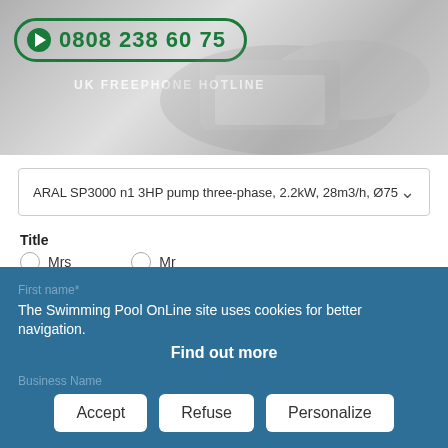[Figure (photo): Black and white photograph of hands using a calculator with documents, overlaid with a green phone number badge reading 0808 238 60 75 and UK FREEPHONE HOTLINE text]
ARAL SP3000 n1 3HP pump three-phase, 2.2kW, 28m3/h, Ø75
Title
Mrs
Mr
Surname*
First name*
The Swimming Pool OnLine site uses cookies for better navigation.
Find out more
Business Name
Accept
Refuse
Personalize